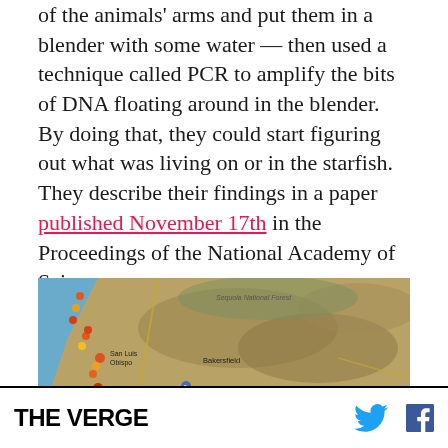of the animals' arms and put them in a blender with some water — then used a technique called PCR to amplify the bits of DNA floating around in the blender. By doing that, they could start figuring out what was living on or in the starfish. They describe their findings in a paper published November 17th in the Proceedings of the National Academy of Sciences.
[Figure (map): Satellite/terrain map showing the California coast from San Luis Obispo south toward the Los Angeles area, with colored marker pins along the coastline indicating sampling locations. Cities labeled include San Luis Obispo, Santa Maria, Bakersfield, Lancaster, and Victorville. Sequoia National Forest is visible in the upper portion.]
THE VERGE